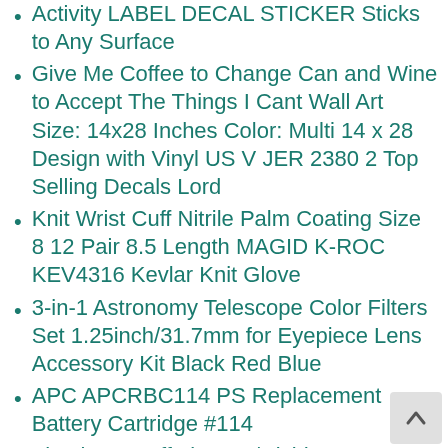Activity LABEL DECAL STICKER Sticks to Any Surface
Give Me Coffee to Change Can and Wine to Accept The Things I Cant Wall Art Size: 14x28 Inches Color: Multi 14 x 28 Design with Vinyl US V JER 2380 2 Top Selling Decals Lord
Knit Wrist Cuff Nitrile Palm Coating Size 8 12 Pair 8.5 Length MAGID K-ROC KEV4316 Kevlar Knit Glove
3-in-1 Astronomy Telescope Color Filters Set 1.25inch/31.7mm for Eyepiece Lens Accessory Kit Black Red Blue
APC APCRBC114 PS Replacement Battery Cartridge #114
Flambeau Tufftainer W/Dividers
Kess InHouse Lydia Martin Knee Deep Round